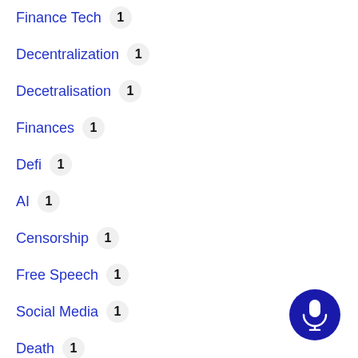Finance Tech 1
Decentralization 1
Decetralisation 1
Finances 1
Defi 1
AI 1
Censorship 1
Free Speech 1
Social Media 1
Death 1
Grief 1
[Figure (illustration): Dark blue circular microphone button in bottom-right corner]